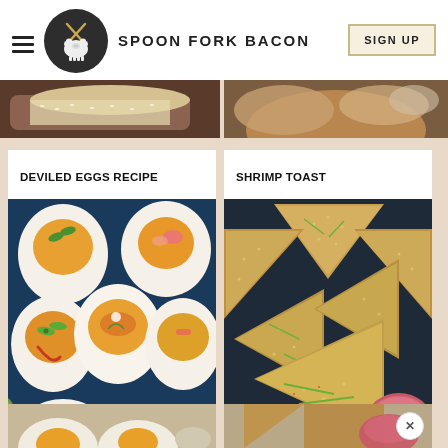SPOON FORK BACON
[Figure (screenshot): Website screenshot of Spoon Fork Bacon food blog showing navigation header with hamburger menu, pig logo, site title, and SIGN UP button, with recipe cards for Deviled Eggs Recipe and Shrimp Toast]
DEVILED EGGS RECIPE
[Figure (photo): Photo of various deviled eggs with colorful toppings including jalapeño slices, paprika, and herbs on a dark blue surface]
SHRIMP TOAST
[Figure (photo): Photo of shrimp toast triangles topped with green onions and spices arranged on a dark surface with a dipping sauce bowl]